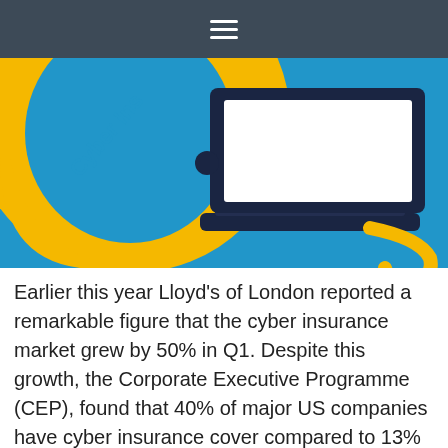[Figure (illustration): Illustration of a yellow umbrella with 'Cyber Insurance' text on it, overlaid with a dark navy laptop computer, on a bright blue background. A yellow umbrella handle is visible in the bottom right corner.]
Earlier this year Lloyd’s of London reported a remarkable figure that the cyber insurance market grew by 50% in Q1. Despite this growth, the Corporate Executive Programme (CEP), found that 40% of major US companies have cyber insurance cover compared to 13% of UK businesses. While this